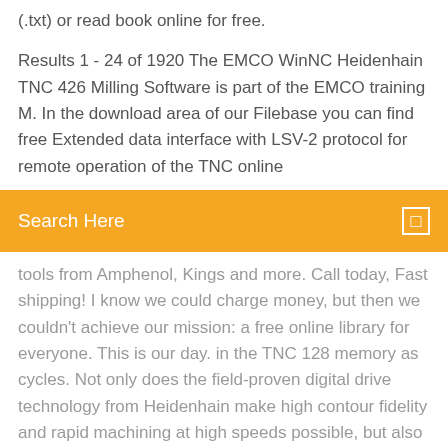(.txt) or read book online for free.
Results 1 - 24 of 1920 The EMCO WinNC Heidenhain TNC 426 Milling Software is part of the EMCO training M. In the download area of our Filebase you can find free Extended data interface with LSV-2 protocol for remote operation of the TNC online
[Figure (screenshot): Orange search bar with text 'Search Here' and a small square icon on the right]
tools from Amphenol, Kings and more. Call today, Fast shipping! I know we could charge money, but then we couldn't achieve our mission: a free online library for everyone. This is our day. in the TNC 128 memory as cycles. Not only does the field-proven digital drive technology from Heidenhain make high contour fidelity and rapid machining at high speeds possible, but also all control components of the TNC 620 are connected via digital interfaces. User Manual TNC 124 - Free download as PDF File (.pdf), Text File (.txt) or read online for free. Cimco Software 8.02.13 Preview Released: 30-11-17Register to download